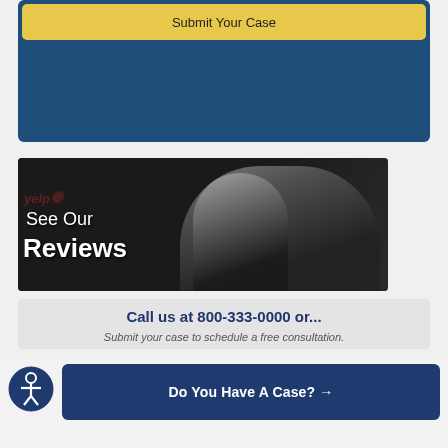[Figure (screenshot): Yellow 'Submit Your Case' button on dark blue background banner]
[Figure (photo): Two lawyers in suits standing in front of dark background with Yelp watermark and yellow geometric accent. Text overlay reads 'See Our Reviews']
Call us at 800-333-0000 or...
Submit your case to schedule a free consultation.
[Figure (screenshot): Accessibility icon (person in circle) on left and dark blue 'Do You Have A Case? →' button on right]